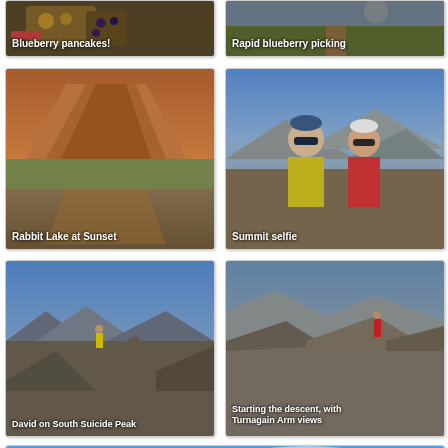[Figure (photo): Blueberry pancakes on a camp stove with caption 'Blueberry pancakes!']
[Figure (photo): Person picking blueberries on mountainside with caption 'Rapid blueberry picking']
[Figure (photo): Rabbit Lake at sunset with mountain reflection with caption 'Rabbit Lake at Sunset']
[Figure (photo): Two people taking a summit selfie with caption 'Summit selfie']
[Figure (photo): David standing on rocky peak with yellow jacket with caption 'David on South Suicide Peak']
[Figure (photo): Hiker on ridge with Turnagain Arm visible below with caption 'Starting the descent, with Turnagain Arm views']
[Figure (photo): Blue sky with clouds and snowy mountain tops partially visible]